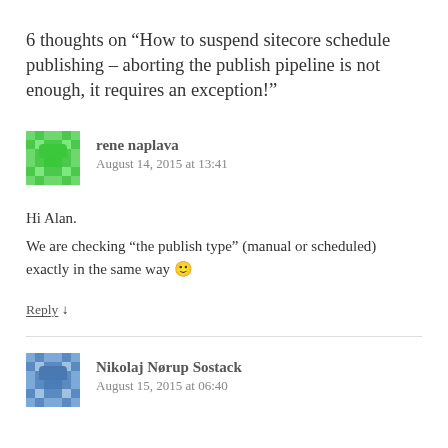6 thoughts on “How to suspend sitecore schedule publishing – aborting the publish pipeline is not enough, it requires an exception!”
rene naplava
August 14, 2015 at 13:41
Hi Alan.
We are checking “the publish type” (manual or scheduled) exactly in the same way 🙂
Reply ↓
Nikolaj Nørup Sostack
August 15, 2015 at 06:40